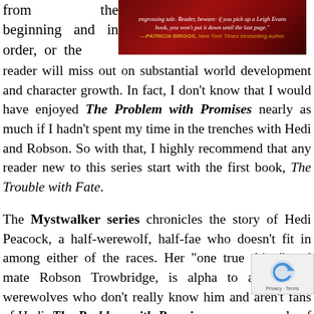from the beginning and in order, or the reader will miss out on substantial world development and character growth. In fact, I don't know that I would have enjoyed The Problem with Promises nearly as much if I hadn't spent my time in the trenches with Hedi and Robson. So with that, I highly recommend that any reader new to this series start with the first book, The Trouble with Fate.
[Figure (photo): Book cover with red background showing a quote: 'engrossing tale. Reader, beware: if you pick up a Leigh Evans book, you won't put it down until the last page.' — PATRICIA BRIGGS, New York Times bestselling author]
The Mystwalker series chronicles the story of Hedi Peacock, a half-werewolf, half-fae who doesn't fit in among either of the races. Her "one true thing" and mate Robson Trowbridge, is alpha to a pack of werewolves who don't really know him and aren't fans of Hedi. The Problem with Promises opens a couple of hours after the conclusion of the previous, The Thing About Weres. The central characters are all to discuss strategy and create a plan of action to deal with